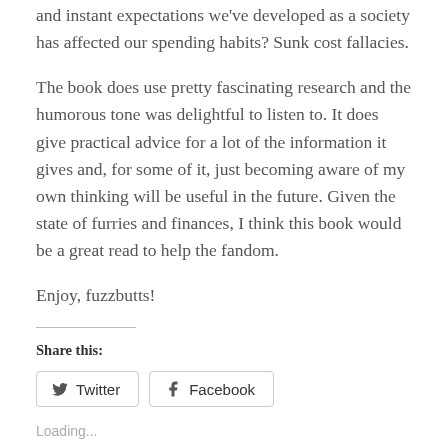and instant expectations we've developed as a society has affected our spending habits? Sunk cost fallacies.
The book does use pretty fascinating research and the humorous tone was delightful to listen to. It does give practical advice for a lot of the information it gives and, for some of it, just becoming aware of my own thinking will be useful in the future. Given the state of furries and finances, I think this book would be a great read to help the fandom.
Enjoy, fuzzbutts!
Share this:
Twitter
Facebook
Loading...